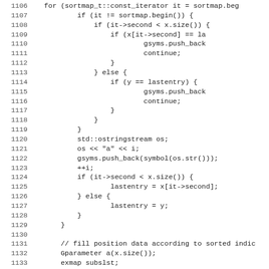[Figure (screenshot): Source code listing in C++ showing lines 1106-1138, with line numbers on the left and code on the right in a monospace font. Code shows logic for sortmap iteration, gsyms.push_back, continue, lastentry assignments, ostringstream usage, and fill position data comment.]